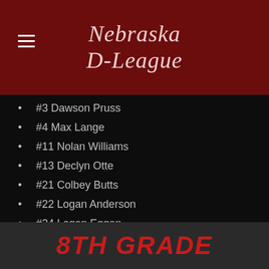Nebraska D-League
#3 Dawson Pruss
#4 Max Lange
#11 Nolan Williams
#13 Declyn Otte
#21 Colbey Butts
#22 Logan Anderson
#24 Logan Eggen
#30 Jordan Settles
Coach Seth Williams
8TH GRADE